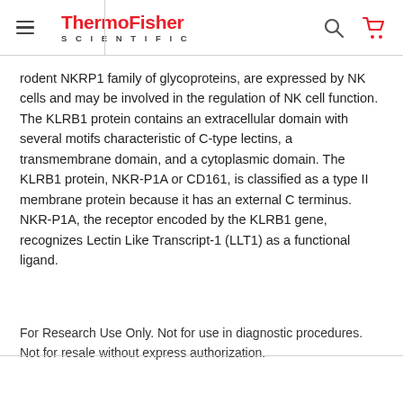ThermoFisher SCIENTIFIC
rodent NKRP1 family of glycoproteins, are expressed by NK cells and may be involved in the regulation of NK cell function. The KLRB1 protein contains an extracellular domain with several motifs characteristic of C-type lectins, a transmembrane domain, and a cytoplasmic domain. The KLRB1 protein, NKR-P1A or CD161, is classified as a type II membrane protein because it has an external C terminus. NKR-P1A, the receptor encoded by the KLRB1 gene, recognizes Lectin Like Transcript-1 (LLT1) as a functional ligand.
For Research Use Only. Not for use in diagnostic procedures. Not for resale without express authorization.